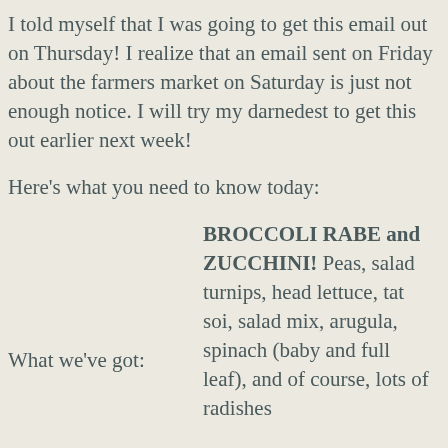I told myself that I was going to get this email out on Thursday! I realize that an email sent on Friday about the farmers market on Saturday is just not enough notice. I will try my darnedest to get this out earlier next week!
Here's what you need to know today:
What we've got:
BROCCOLI RABE and ZUCCHINI! Peas, salad turnips, head lettuce, tat soi, salad mix, arugula, spinach (baby and full leaf), and of course, lots of radishes